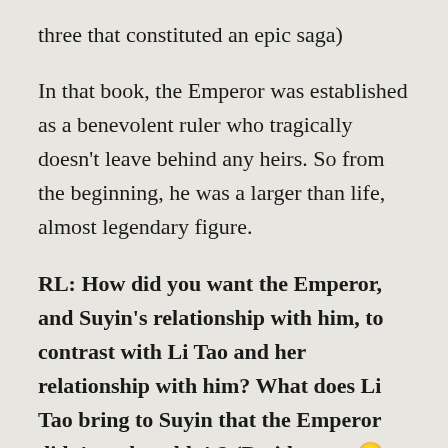three that constituted an epic saga)
In that book, the Emperor was established as a benevolent ruler who tragically doesn't leave behind any heirs. So from the beginning, he was a larger than life, almost legendary figure.
RL: How did you want the Emperor, and Suyin's relationship with him, to contrast with Li Tao and her relationship with him? What does Li Tao bring to Suyin that the Emperor didn't and couldn't? (Besides sex. 🙂
JL: With the Emperor, Suyin learned her